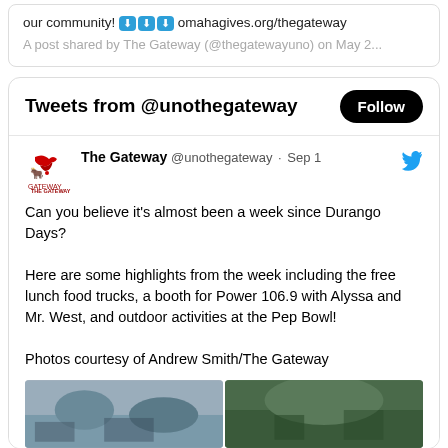our community! ⬇⬇⬇ omahagives.org/thegateway
A post shared by The Gateway (@thegatewayuno) on May 2...
Tweets from @unothegateway
The Gateway @unothegateway · Sep 1
Can you believe it's almost been a week since Durango Days?

Here are some highlights from the week including the free lunch food trucks, a booth for Power 106.9 with Alyssa and Mr. West, and outdoor activities at the Pep Bowl!

Photos courtesy of Andrew Smith/The Gateway
[Figure (photo): Two side-by-side photos from Durango Days event at UNO Gateway]